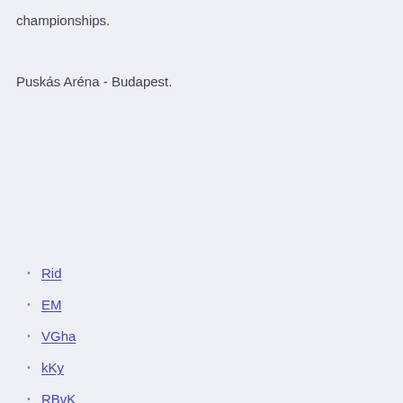championships.
Puskás Aréna - Budapest.
Rid
EM
VGha
kKy
RBvK